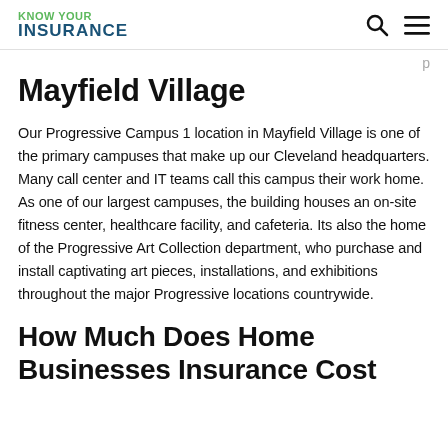KNOW YOUR INSURANCE
p
Mayfield Village
Our Progressive Campus 1 location in Mayfield Village is one of the primary campuses that make up our Cleveland headquarters. Many call center and IT teams call this campus their work home. As one of our largest campuses, the building houses an on-site fitness center, healthcare facility, and cafeteria. Its also the home of the Progressive Art Collection department, who purchase and install captivating art pieces, installations, and exhibitions throughout the major Progressive locations countrywide.
How Much Does Home Businesses Insurance Cost